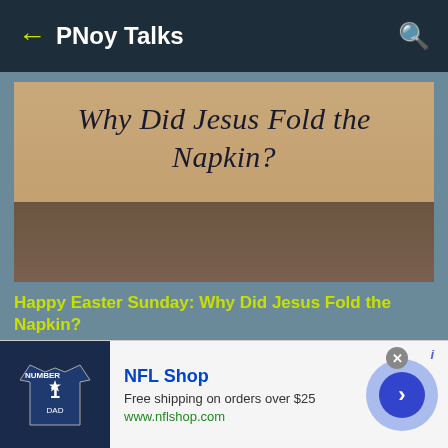PNoy Talks
[Figure (photo): Hero image with wooden background texture, top portion tan/beige, bottom portion dark brown/gray, with cursive italic text reading 'Why Did Jesus Fold the Napkin?']
Happy Easter Sunday: Why Did Jesus Fold the Napkin?
This photo with a caption "Why Did Jesus Fold the Napkin?" really caught my attention. And here's the explanation...
[Figure (screenshot): NFL Shop advertisement banner with jersey image, 'NFL Shop' title, 'Free shipping on orders over $25', 'www.nflshop.com', close button, and forward arrow button]